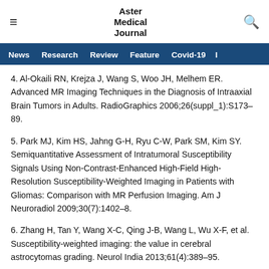Aster Medical Journal
4. Al-Okaili RN, Krejza J, Wang S, Woo JH, Melhem ER. Advanced MR Imaging Techniques in the Diagnosis of Intraaxial Brain Tumors in Adults. RadioGraphics 2006;26(suppl_1):S173–89.
5. Park MJ, Kim HS, Jahng G-H, Ryu C-W, Park SM, Kim SY. Semiquantitative Assessment of Intratumoral Susceptibility Signals Using Non-Contrast-Enhanced High-Field High-Resolution Susceptibility-Weighted Imaging in Patients with Gliomas: Comparison with MR Perfusion Imaging. Am J Neuroradiol 2009;30(7):1402–8.
6. Zhang H, Tan Y, Wang X-C, Qing J-B, Wang L, Wu X-F, et al. Susceptibility-weighted imaging: the value in cerebral astrocytomas grading. Neurol India 2013;61(4):389–95.